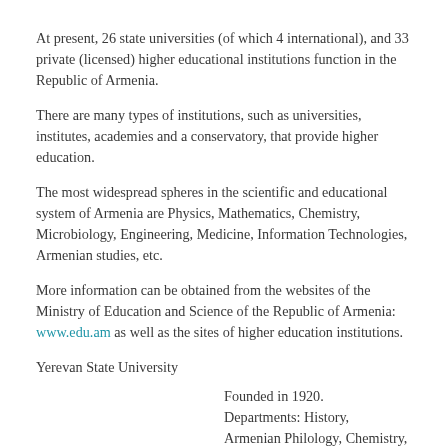At present, 26 state universities (of which 4 international), and 33 private (licensed) higher educational institutions function in the Republic of Armenia.
There are many types of institutions, such as universities, institutes, academies and a conservatory, that provide higher education.
The most widespread spheres in the scientific and educational system of Armenia are Physics, Mathematics, Chemistry, Microbiology, Engineering, Medicine, Information Technologies, Armenian studies, etc.
More information can be obtained from the websites of the Ministry of Education and Science of the Republic of Armenia: www.edu.am as well as the sites of higher education institutions.
Yerevan State University
Founded in 1920. Departments: History, Armenian Philology, Chemistry, Physics, Economics, Mathematics and Mechanics,